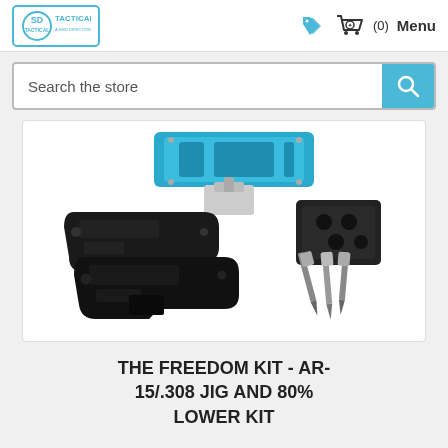SD TACTICAL | (0) Menu
Search the store
[Figure (photo): Product photo showing the Freedom Kit components: a blue anodized aluminum jig/router fixture, two black 80% AR-15 lower receivers, a black drilling plate accessory, and three drill bits/end mills on a white background.]
THE FREEDOM KIT - AR-15/.308 JIG AND 80% LOWER KIT